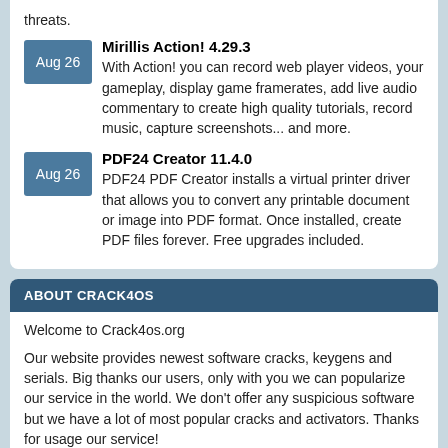threats.
Aug 26 — Mirillis Action! 4.29.3: With Action! you can record web player videos, your gameplay, display game framerates, add live audio commentary to create high quality tutorials, record music, capture screenshots... and more.
Aug 26 — PDF24 Creator 11.4.0: PDF24 PDF Creator installs a virtual printer driver that allows you to convert any printable document or image into PDF format. Once installed, create PDF files forever. Free upgrades included.
ABOUT CRACK4OS
Welcome to Crack4os.org
Our website provides newest software cracks, keygens and serials. Big thanks our users, only with you we can popularize our service in the world. We don't offer any suspicious software but we have a lot of most popular cracks and activators. Thanks for usage our service!